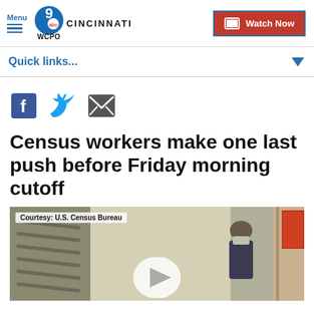Menu | WCPO 9 ABC CINCINNATI | Watch Now
Quick links...
[Figure (other): Social share icons: Facebook, Twitter, Email]
Census workers make one last push before Friday morning cutoff
[Figure (photo): Video thumbnail showing a census worker at a door, with overlay text 'Courtesy: U.S. Census Bureau' and a play button. The person is wearing a mask and dark sleeveless top, standing near a doorway.]